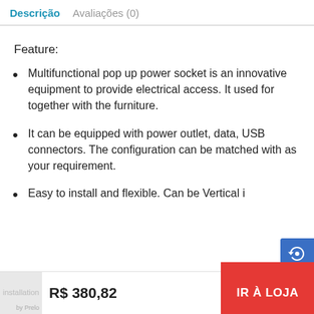Descrição   Avaliações (0)
Feature:
Multifunctional pop up power socket is an innovative equipment to provide electrical access. It used for together with the furniture.
It can be equipped with power outlet, data, USB connectors. The configuration can be matched with as your requirement.
Easy to install and flexible. Can be Vertical installation, horizontal installation and Inver…
R$ 380,82   IR À LOJA